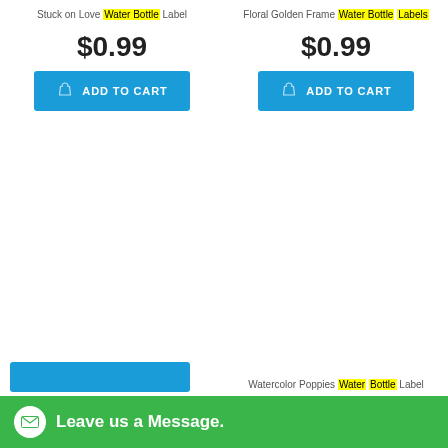Stuck on Love Water Bottle Label
$0.99
Floral Golden Frame Water Bottle Labels
$0.99
Watercolor Poppies Water Bottle Label
Leave us a Message.